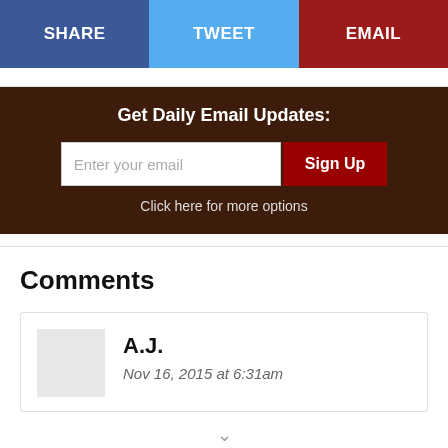[Figure (infographic): Social sharing bar with three buttons: SHARE (blue), TWEET (light blue), EMAIL (dark red)]
Get Daily Email Updates:
Enter your email | Sign Up
Click here for more options
Comments
A.J.
Nov 16, 2015 at 6:31am